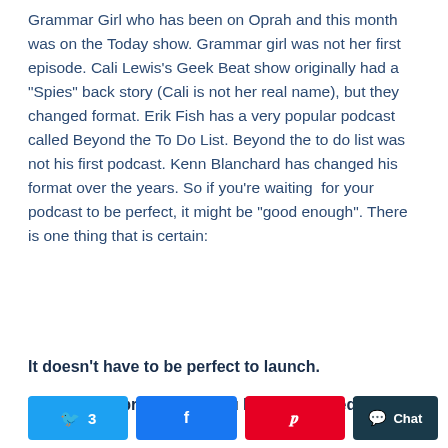Grammar Girl who has been on Oprah and this month was on the Today show. Grammar girl was not her first episode. Cali Lewis's Geek Beat show originally had a "Spies" back story (Cali is not her real name), but they changed format. Erik Fish has a very popular podcast called Beyond the To Do List. Beyond the to do list was not his first podcast. Kenn Blanchard has changed his format over the years. So if you're waiting  for your podcast to be perfect, it might be "good enough". There is one thing that is certain:
It doesn't have to be perfect to launch.
You can't improve what you haven't started.